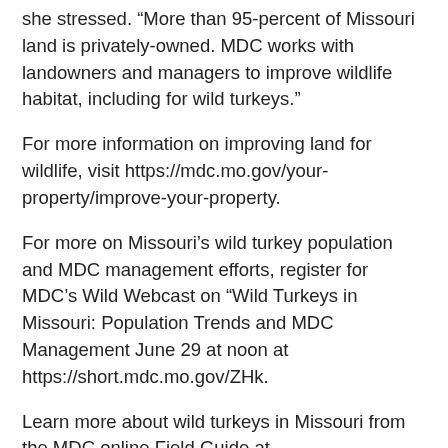she stressed. “More than 95-percent of Missouri land is privately-owned. MDC works with landowners and managers to improve wildlife habitat, including for wild turkeys.”
For more information on improving land for wildlife, visit https://mdc.mo.gov/your-property/improve-your-property.
For more on Missouri’s wild turkey population and MDC management efforts, register for MDC’s Wild Webcast on “Wild Turkeys in Missouri: Population Trends and MDC Management June 29 at noon at https://short.mdc.mo.gov/ZHk.
Learn more about wild turkeys in Missouri from the MDC online Field Guide at https://mdc.mo.gov/discover-nature/field-guide/wild-turkey.
[Figure (other): Social media sharing icons: Facebook, Twitter, and a generic share button]